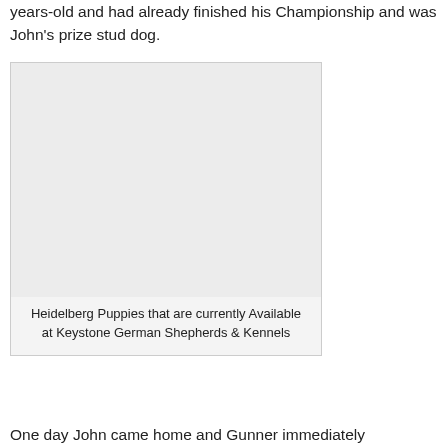years-old and had already finished his Championship and was John's prize stud dog.
[Figure (photo): A light gray placeholder image area representing a photo of Heidelberg Puppies available at Keystone German Shepherds & Kennels.]
Heidelberg Puppies that are currently Available at Keystone German Shepherds & Kennels
One day John came home and Gunner immediately